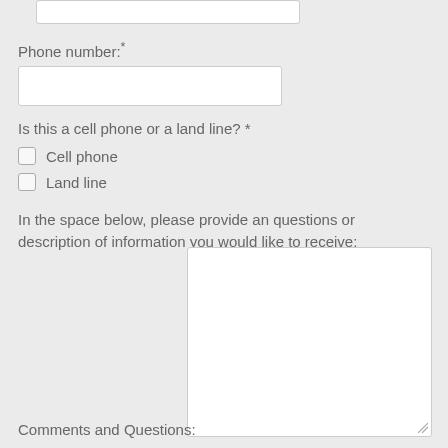[Figure (other): Partial text input box at top of page (phone or name field, partially visible)]
Phone number:*
[Figure (other): Text input box for phone number]
Is this a cell phone or a land line? *
Cell phone
Land line
In the space below, please provide an questions or description of information you would like to receive:
[Figure (other): Large textarea input box for comments and questions]
Comments and Questions: